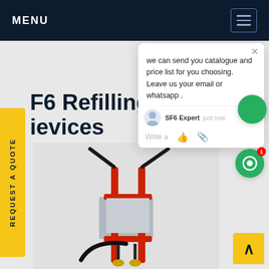MENU
SF6 Refilling Evacuation Devices
[Figure (photo): SF6 refilling and evacuation device — a red and grey industrial cart/trolley with hoses, valves, and handles for SF6 gas handling]
REQUEST A QUOTE
we can send you catalogue and price list for you choosing.
Leave us your email or whatsapp .
SF6 Expert   just now
Write a